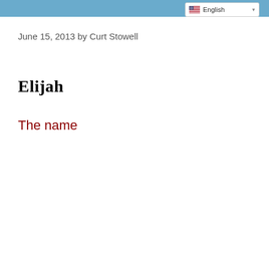English
June 15, 2013 by Curt Stowell
Elijah
The name